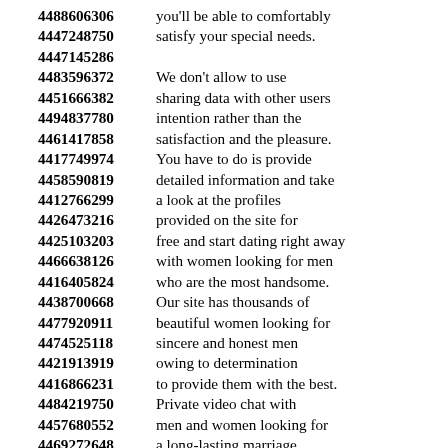4488606306 you'll be able to comfortably
4447248750 satisfy your special needs.
4447145286
4483596372 We don't allow to use
4451666382 sharing data with other users
4494837780 intention rather than the
4461417858 satisfaction and the pleasure.
4417749974 You have to do is provide
4458590819 detailed information and take
4412766299 a look at the profiles
4426473216 provided on the site for
4425103203 free and start dating right away
4466638126 with women looking for men
4416405824 who are the most handsome.
4438700668 Our site has thousands of
4477920911 beautiful women looking for
4474525118 sincere and honest men
4421913919 owing to determination
4416866231 to provide them with the best.
4484219750 Private video chat with
4457680552 men and women looking for
4469272648 a long-lasting marriage
4491684258 are not shared with others.
4471836362 You have an opportunity of
4424338945 sending your messages